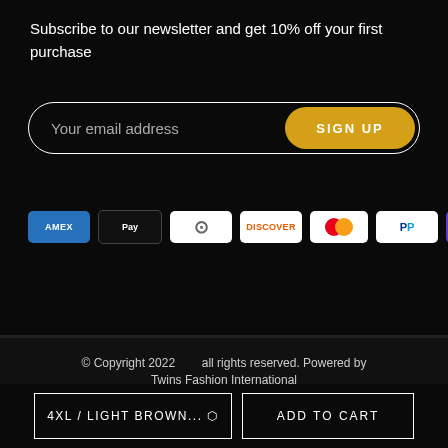Subscribe to our newsletter and get 10% off your first purchase
[Figure (other): Email signup form with 'Your email address' placeholder and golden 'SIGN UP' button]
[Figure (other): Payment method icons: American Express, Apple Pay, Diners Club, Discover, Mastercard, PayPal, OPay, Visa]
© Copyright 2022 all rights reserved. Powered by Twins Fashion International
4XL / LIGHT BROWN...
ADD TO CART